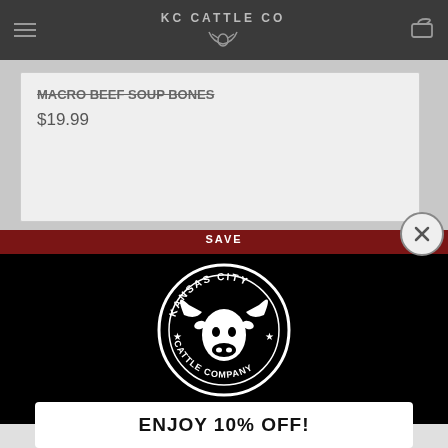KC CATTLE CO
MACRO BEEF SOUP BONES
$19.99
[Figure (logo): Kansas City Cattle Company circular logo with longhorn bull on black background]
ENJOY 10% OFF!